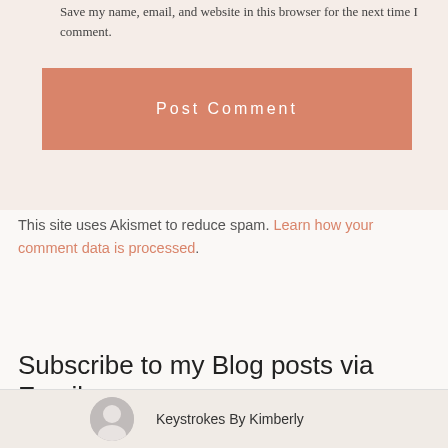Save my name, email, and website in this browser for the next time I comment.
Post Comment
This site uses Akismet to reduce spam. Learn how your comment data is processed.
Subscribe to my Blog posts via Email
Keystrokes By Kimberly